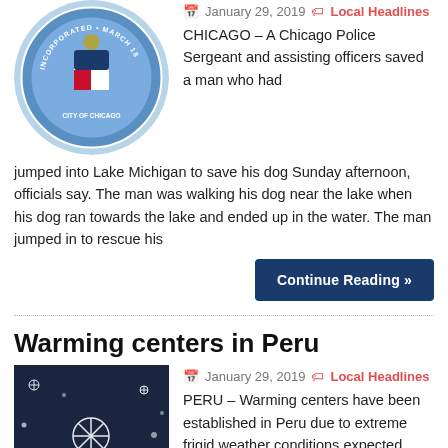[Figure (photo): Chicago city seal/logo circular badge]
January 29, 2019  Local Headlines
CHICAGO – A Chicago Police Sergeant and assisting officers saved a man who had jumped into Lake Michigan to save his dog Sunday afternoon, officials say. The man was walking his dog near the lake when his dog ran towards the lake and ended up in the water. The man jumped in to rescue his
Continue Reading »
Warming centers in Peru
[Figure (photo): Dark background with white snowflakes scattered across it]
January 29, 2019  Local Headlines
PERU – Warming centers have been established in Peru due to extreme frigid weather conditions expected. Illinois Valley Community Hospital is keeping its cafeteria open around the clock to serve as a warming center for people who need relief from the cold. Anyone who wants to warm up at
Continue Reading »